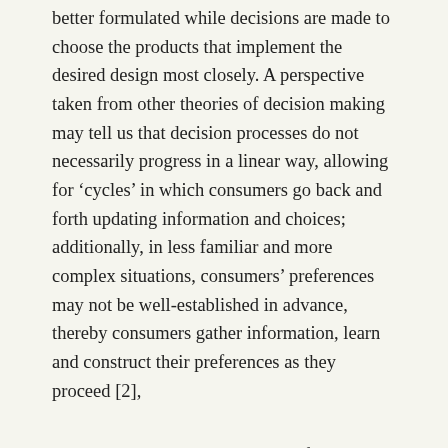better formulated while decisions are made to choose the products that implement the desired design most closely. A perspective taken from other theories of decision making may tell us that decision processes do not necessarily progress in a linear way, allowing for 'cycles' in which consumers go back and forth updating information and choices; additionally, in less familiar and more complex situations, consumers' preferences may not be well-established in advance, thereby consumers gather information, learn and construct their preferences as they proceed [2],
Returning to the problem-solving framework, interdependence between decisions or moves can manifest in the form of a 'sub-problem'; for example, making a certain choice about the setup or design of the apartment requires sorting out first a particular condition in another aspect or area of planning. Suppose, for instance, that Dave has a furniture with interior lighting installed which